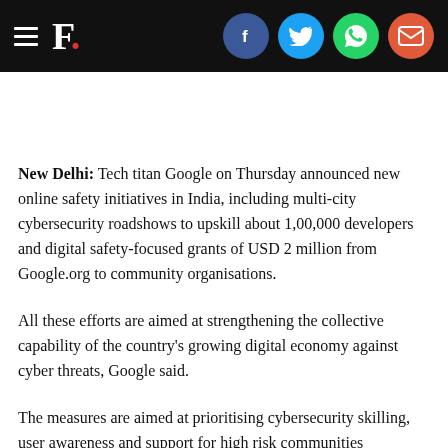F. [logo with social share icons: Facebook, Twitter, WhatsApp, Email]
New Delhi: Tech titan Google on Thursday announced new online safety initiatives in India, including multi-city cybersecurity roadshows to upskill about 1,00,000 developers and digital safety-focused grants of USD 2 million from Google.org to community organisations.
All these efforts are aimed at strengthening the collective capability of the country's growing digital economy against cyber threats, Google said.
The measures are aimed at prioritising cybersecurity skilling, user awareness and support for high risk communities